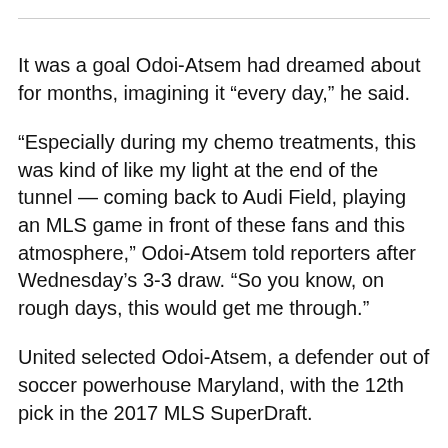It was a goal Odoi-Atsem had dreamed about for months, imagining it “every day,” he said.
“Especially during my chemo treatments, this was kind of like my light at the end of the tunnel — coming back to Audi Field, playing an MLS game in front of these fans and this atmosphere,” Odoi-Atsem told reporters after Wednesday’s 3-3 draw. “So you know, on rough days, this would get me through.”
United selected Odoi-Atsem, a defender out of soccer powerhouse Maryland, with the 12th pick in the 2017 MLS SuperDraft. To reviewed Carlo Giovachino, a beloved